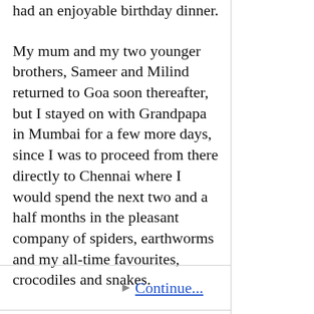had an enjoyable birthday dinner.
My mum and my two younger brothers, Sameer and Milind returned to Goa soon thereafter, but I stayed on with Grandpapa in Mumbai for a few more days, since I was to proceed from there directly to Chennai where I would spend the next two and a half months in the pleasant company of spiders, earthworms and my all-time favourites, crocodiles and snakes.
▶ Continue...